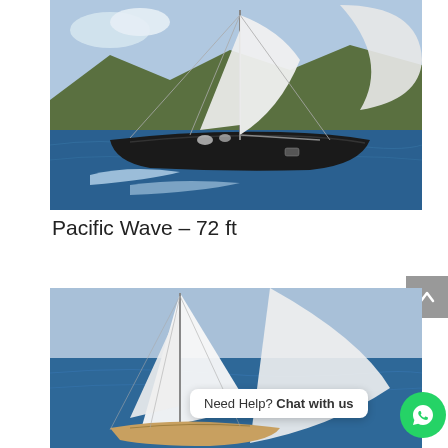[Figure (photo): A large dark-hulled sailing yacht (Pacific Wave, 72ft) sailing on blue water with white sails and mountains in background]
Pacific Wave – 72 ft
[Figure (photo): A sailing yacht with large white sails sailing on blue ocean water, viewed from the side]
Need Help? Chat with us